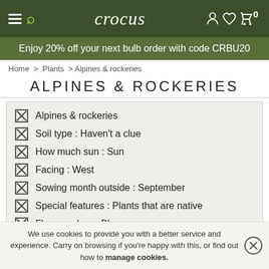crocus
Enjoy 20% off your next bulb order with code CRBU20
Home > Plants > Alpines & rockeries
ALPINES & ROCKERIES
Alpines & rockeries
Soil type : Haven't a clue
How much sun : Sun
Facing : West
Sowing month outside : September
Special features : Plants that are native
Flower colour : Blue
We use cookies to provide you with a better service and experience. Carry on browsing if you're happy with this, or find out how to manage cookies.